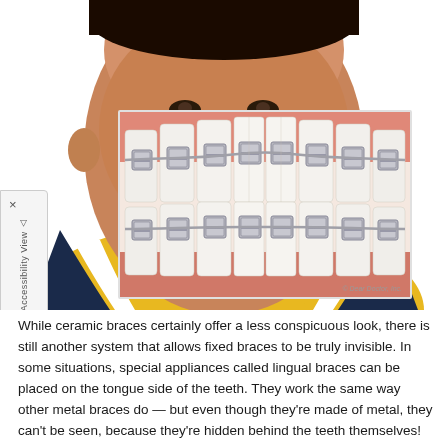[Figure (photo): Photo of a smiling young boy wearing a yellow and navy athletic shirt, with a close-up inset illustration showing metal braces (lingual braces) on upper and lower teeth. Copyright notice: © Dear Doctor, Inc.]
While ceramic braces certainly offer a less conspicuous look, there is still another system that allows fixed braces to be truly invisible. In some situations, special appliances called lingual braces can be placed on the tongue side of the teeth. They work the same way other metal braces do — but even though they're made of metal, they can't be seen, because they're hidden behind the teeth themselves!
Lingual braces aren't the proper treatment for every orthodontic condition. Special training is required to install them, and they're significantly more expensive than standard braces. They also generally